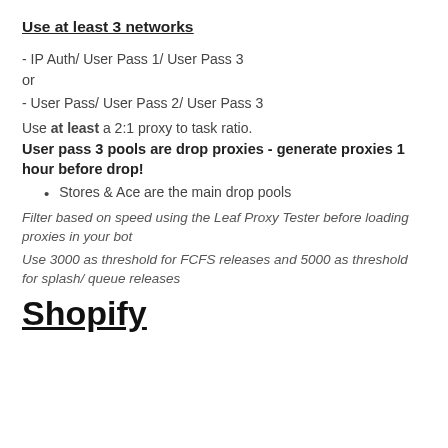Use at least 3 networks
- IP Auth/ User Pass 1/ User Pass 3
or
- User Pass/ User Pass 2/ User Pass 3
Use at least a 2:1 proxy to task ratio.
User pass 3 pools are drop proxies - generate proxies 1 hour before drop!
Stores & Ace are the main drop pools
Filter based on speed using the Leaf Proxy Tester before loading proxies in your bot
Use 3000 as threshold for FCFS releases and 5000 as threshold for splash/ queue releases
Shopify